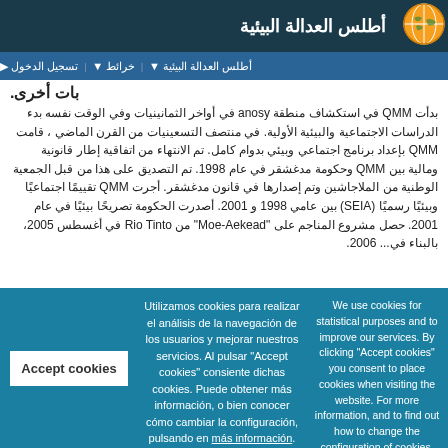أطلس العدالة البيئية
أطلس العدالة البيئية ▼   خرائط ▼   تسجيل الدخول ▶
بات أخرى.
بدأت QMM في استكشاف منطقة anosy في أواخر الثمانينيات وفي الوقت نفسه بدء الدراسات الاجتماعية والبيئية الأولية. في منتصف التسعينيات من القرن الماضي، قامت QMM بإعداد برنامج اجتماعي وبيئي بدوام كامل. تم الانتهاء من اتفاقية إطار قانونية ومالية بين QMM وحكومة مدغشقر في عام 1998. تم التصديق على هذا من قبل الجمعية الوطنية من الملاجاشين وتم إصدارها في قانون مدغشقر. أجرت QMM تقييمًا اجتماعيًا وبيئيًا رسميًا (SEIA) بين عامي 1998 و 2001. أصدرت الحكومة تصريحًا بيئيًا في عام 2001. حصل مشروع المناجم على "Moe-Aekead" من Rio Tinto في أغسطس 2005، بالبناء في... 2006.
Utilizamos cookies para realizar el análisis de la navegación de los usuarios y mejorar nuestros servicios. Al pulsar "Accept cookies" consiente dichas cookies. Puede obtener más información, o bien conocer cómo cambiar la configuración, pulsando en más información.
We use cookies for statistical purposes and to improve our services. By clicking "Accept cookies" you consent to place cookies when visiting the website. For more information, and to find out how to change the configuration of cookies, please read our cookie policy.
Accept cookies